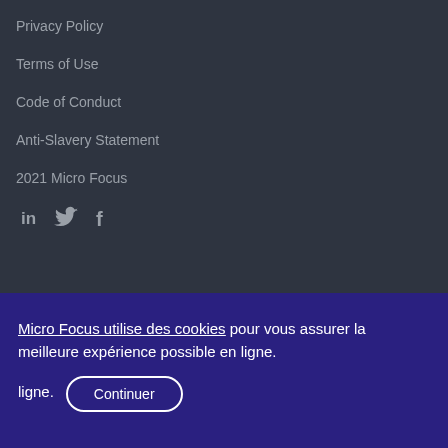Privacy Policy
Terms of Use
Code of Conduct
Anti-Slavery Statement
2021 Micro Focus
[Figure (infographic): Social media icons: LinkedIn (in), Twitter (bird icon), Facebook (f)]
Micro Focus utilise des cookies pour vous assurer la meilleure expérience possible en ligne. Continuer